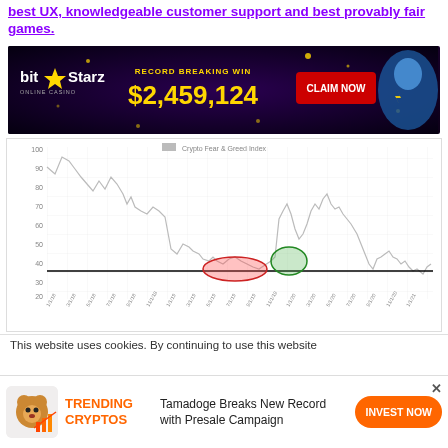best UX, knowledgeable customer support and best provably fair games.
[Figure (screenshot): BitStarz online casino advertisement banner. Shows 'bit★Starz ONLINE CASINO' logo, 'RECORD BREAKING WIN $2,459,124' in gold text, genie character, and red 'CLAIM NOW' button.]
[Figure (continuous-plot): Crypto Fear & Greed Index line chart over time. Y-axis from 0 to 100. Shows a jagged line fluctuating through time with a red oval marking a low area and a green oval marking a slightly higher area near the bottom. A horizontal black line at approximately y=25. Values generally high (70-100) at the left, dipping to low (20-30) in the mid-right area.]
This website uses cookies. By continuing to use this website
[Figure (infographic): Trending Cryptos promotional bar with dog/bear icon with chart, orange TRENDING CRYPTOS label, text 'Tamadoge Breaks New Record with Presale Campaign', and orange INVEST NOW button. Close X in top right.]